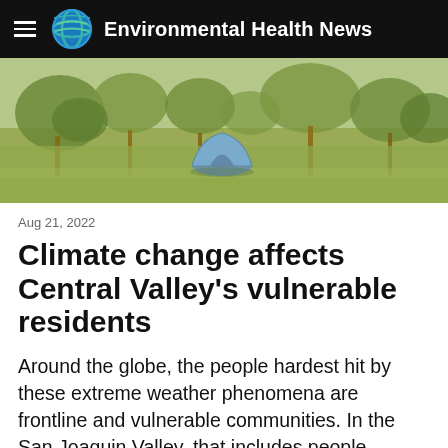Environmental Health News
[Figure (photo): Outdoor scene with trees and dry grass; a small blue camping tent is visible in the center background among sparse trees on a hillside.]
Aug 21, 2022
Climate change affects Central Valley's vulnerable residents
Around the globe, the people hardest hit by these extreme weather phenomena are frontline and vulnerable communities. In the San Joaquin Valley, that includes people earning low incomes, immigrants, farmworkers, English-language learners,